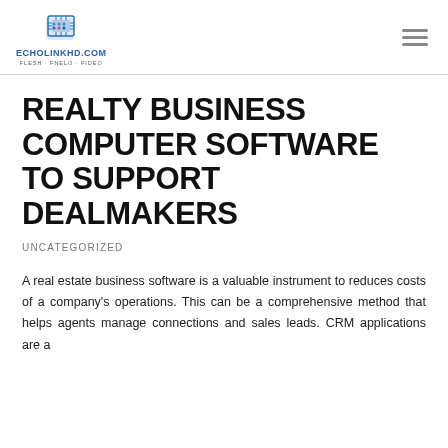ECHOLINKHD.COM FLESH · FNELO · FIDEO
REALTY BUSINESS COMPUTER SOFTWARE TO SUPPORT DEALMAKERS
UNCATEGORIZED
A real estate business software is a valuable instrument to reduces costs of a company's operations. This can be a comprehensive method that helps agents manage connections and sales leads. CRM applications are a